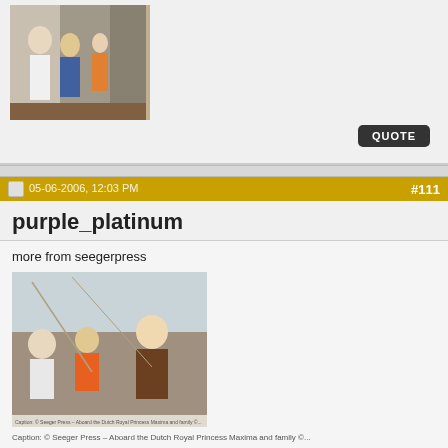[Figure (photo): Partial photo of people on a boat/dock, cropped at top]
QUOTE
05-06-2006, 12:03 PM   #111
purple_platinum
more from seegerpress
[Figure (photo): Photo of people on a sailboat, including a child in orange life vest and a woman in brown jacket]
Caption text from seegerpress photo
QUOTE
15-06-2006, 12:39 PM   #112